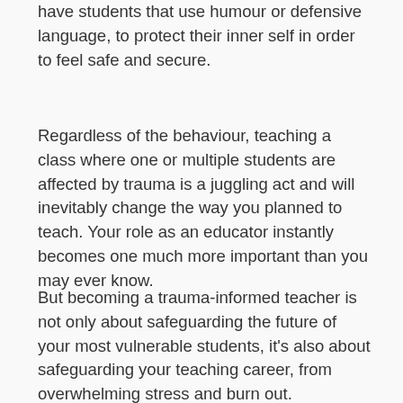have students that use humour or defensive language, to protect their inner self in order to feel safe and secure.
Regardless of the behaviour, teaching a class where one or multiple students are affected by trauma is a juggling act and will inevitably change the way you planned to teach. Your role as an educator instantly becomes one much more important than you may ever know.
But becoming a trauma-informed teacher is not only about safeguarding the future of your most vulnerable students, it's also about safeguarding your teaching career, from overwhelming stress and burn out.